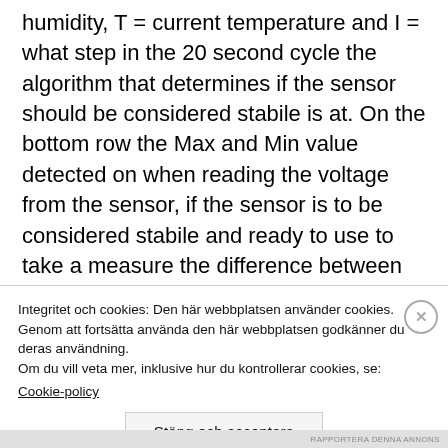humidity, T = current temperature and I = what step in the 20 second cycle the algorithm that determines if the sensor should be considered stabile is at. On the bottom row the Max and Min value detected on when reading the voltage from the sensor, if the sensor is to be considered stabile and ready to use to take a measure the difference between these two values has to be less then 5. After the sensor has been considered stabile the user is
Integritet och cookies: Den här webbplatsen använder cookies. Genom att fortsätta använda den här webbplatsen godkänner du deras användning. Om du vill veta mer, inklusive hur du kontrollerar cookies, se: Cookie-policy
Stäng och acceptera
RAPPORTERA DENNA ANNONS